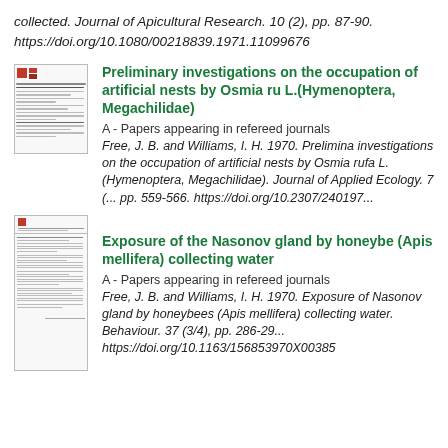collected. Journal of Apicultural Research. 10 (2), pp. 87-90. https://doi.org/10.1080/00218839.1971.11099676
Preliminary investigations on the occupation of artificial nests by Osmia ru L.(Hymenoptera, Megachilidae)
A - Papers appearing in refereed journals
Free, J. B. and Williams, I. H. 1970. Preliminary investigations on the occupation of artificial nests by Osmia rufa L.(Hymenoptera, Megachilidae). Journal of Applied Ecology. 7 (... pp. 559-566. https://doi.org/10.2307/2401974
Exposure of the Nasonov gland by honeybe (Apis mellifera) collecting water
A - Papers appearing in refereed journals
Free, J. B. and Williams, I. H. 1970. Exposure of Nasonov gland by honeybees (Apis mellifera) collecting water. Behaviour. 37 (3/4), pp. 286-29... https://doi.org/10.1163/156853970X00385